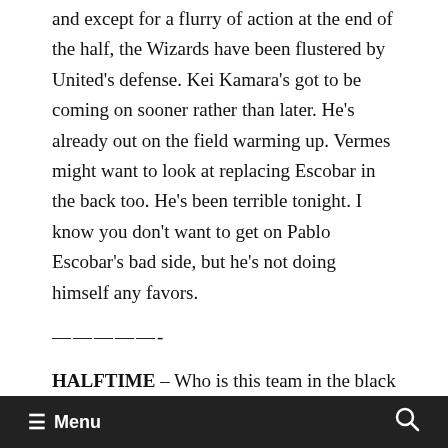and except for a flurry of action at the end of the half, the Wizards have been flustered by United's defense. Kei Kamara's got to be coming on sooner rather than later. He's already out on the field warming up. Vermes might want to look at replacing Escobar in the back too. He's been terrible tonight. I know you don't want to get on Pablo Escobar's bad side, but he's not doing himself any favors.
—————-
HALFTIME – Who is this team in the black uniforms, and what have they done with D.C. United? An over-confident, gritty bunch just
≡ Menu  🔍